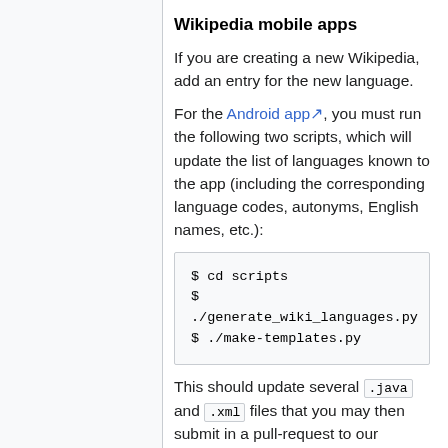Wikipedia mobile apps
If you are creating a new Wikipedia, add an entry for the new language.
For the Android app, you must run the following two scripts, which will update the list of languages known to the app (including the corresponding language codes, autonyms, English names, etc.):
$ cd scripts
$
./generate_wiki_languages.py
$ ./make-templates.py
This should update several .java and .xml files that you may then submit in a pull-request to our repository.
(TODO: Is there anything to do for the